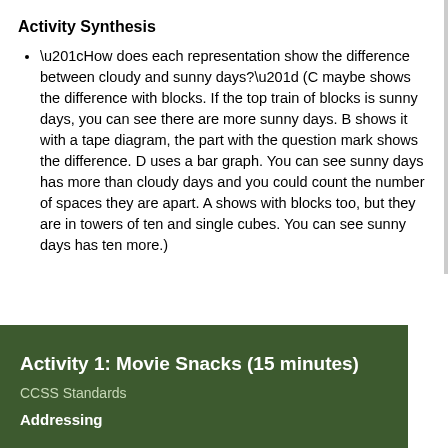Activity Synthesis
“How does each representation show the difference between cloudy and sunny days?” (C maybe shows the difference with blocks. If the top train of blocks is sunny days, you can see there are more sunny days. B shows it with a tape diagram, the part with the question mark shows the difference. D uses a bar graph. You can see sunny days has more than cloudy days and you could count the number of spaces they are apart. A shows with blocks too, but they are in towers of ten and single cubes. You can see sunny days has ten more.)
Activity 1: Movie Snacks (15 minutes)
CCSS Standards
Addressing